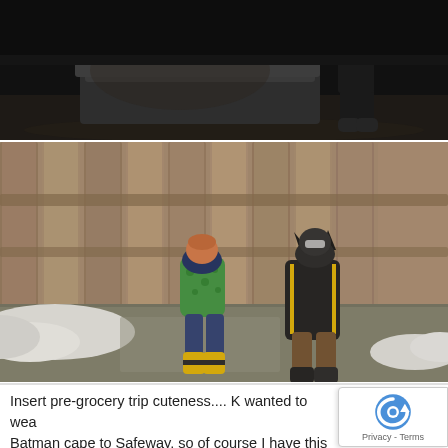[Figure (photo): Black and white photo of a person standing near a bed/couch in a dark room, viewed from behind]
[Figure (photo): Color photo of two young children standing by a wooden fence outdoors in winter/early spring. One child wears a green jacket and yellow boots, the other wears a Batman cape. There is snow on the ground.]
Insert pre-grocery trip cuteness.... K wanted to wea Batman cape to Safeway, so of course I have this in my head of this cute little batman flying down an empty